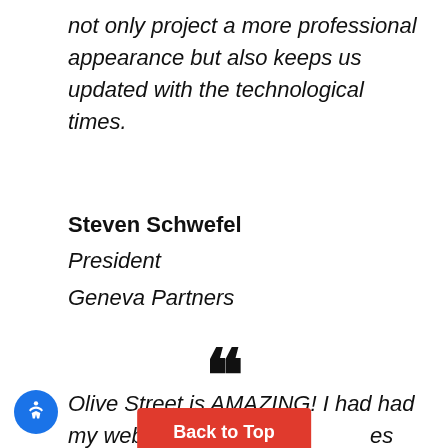not only project a more professional appearance but also keeps us updated with the technological times.
Steven Schwefel
President
Geneva Partners
[Figure (illustration): Large decorative opening double quotation mark icon in black]
Olive Street is AMAZING! I had had my website redone multiple times before and hated it every time. I sat down with